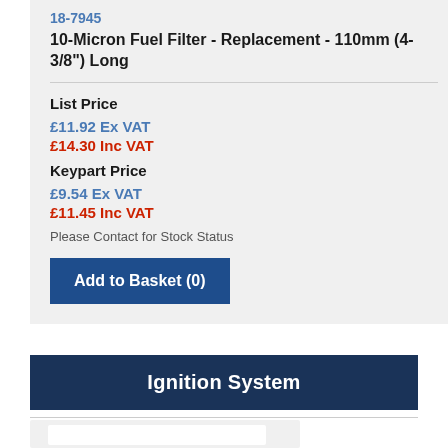18-7945
10-Micron Fuel Filter - Replacement - 110mm (4-3/8") Long
List Price
£11.92 Ex VAT
£14.30 Inc VAT
Keypart Price
£9.54 Ex VAT
£11.45 Inc VAT
Please Contact for Stock Status
Add to Basket (0)
Ignition System